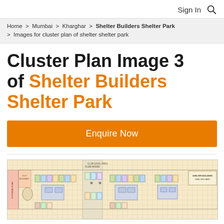Sign In
Home > Mumbai > Kharghar > Shelter Builders Shelter Park > Images for cluster plan of shelter shelter park
Cluster Plan Image 3 of Shelter Builders Shelter Park
Enquire Now
[Figure (engineering-diagram): Cluster plan floor layout of Shelter Builders Shelter Park showing building units, parking, and gardens in a top-down architectural drawing with colored unit blocks on a beige grid background.]